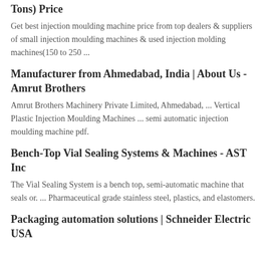Tons) Price
Get best injection moulding machine price from top dealers & suppliers of small injection moulding machines & used injection molding machines(150 to 250 ...
Manufacturer from Ahmedabad, India | About Us - Amrut Brothers
Amrut Brothers Machinery Private Limited, Ahmedabad, ... Vertical Plastic Injection Moulding Machines ... semi automatic injection moulding machine pdf.
Bench-Top Vial Sealing Systems & Machines - AST Inc
The Vial Sealing System is a bench top, semi-automatic machine that seals or. ... Pharmaceutical grade stainless steel, plastics, and elastomers.
Packaging automation solutions | Schneider Electric USA